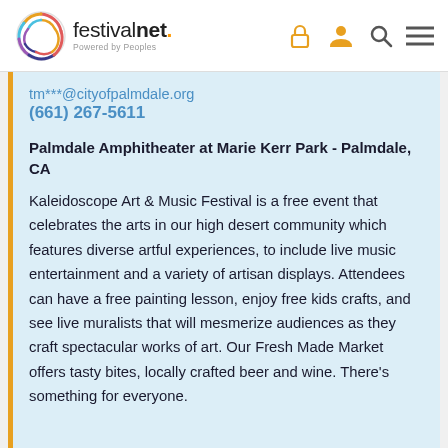festivalnet. Powered by Peoples
tm***@cityofpalmdale.org
(661) 267-5611
Palmdale Amphitheater at Marie Kerr Park - Palmdale, CA
Kaleidoscope Art & Music Festival is a free event that celebrates the arts in our high desert community which features diverse artful experiences, to include live music entertainment and a variety of artisan displays. Attendees can have a free painting lesson, enjoy free kids crafts, and see live muralists that will mesmerize audiences as they craft spectacular works of art. Our Fresh Made Market offers tasty bites, locally crafted beer and wine. There's something for everyone.